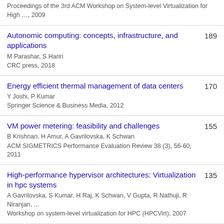Proceedings of the 3rd ACM Workshop on System-level Virtualization for High …, 2009
Autonomic computing: concepts, infrastructure, and applications
M Parashar, S Hariri
CRC press, 2018
189
Energy efficient thermal management of data centers
Y Joshi, P Kumar
Springer Science & Business Media, 2012
170
VM power metering: feasibility and challenges
B Krishnan, H Amur, A Gavrilovska, K Schwan
ACM SIGMETRICS Performance Evaluation Review 38 (3), 56-60, 2011
155
High-performance hypervisor architectures: Virtualization in hpc systems
A Gavrilovska, S Kumar, H Raj, K Schwan, V Gupta, R Nathuji, R Niranjan, ...
Workshop on system-level virtualization for HPC (HPCVirt), 2007
135